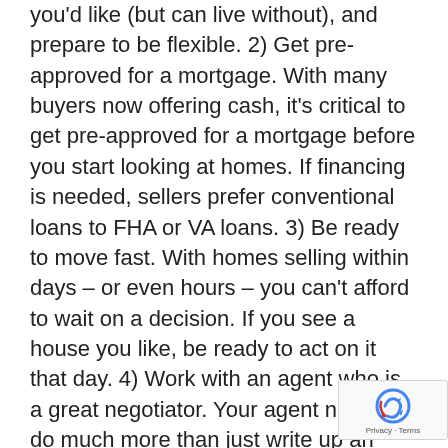you'd like (but can live without), and prepare to be flexible. 2) Get pre-approved for a mortgage. With many buyers now offering cash, it's critical to get pre-approved for a mortgage before you start looking at homes. If financing is needed, sellers prefer conventional loans to FHA or VA loans. 3) Be ready to move fast. With homes selling within days – or even hours – you can't afford to wait on a decision. If you see a house you like, be ready to act on it that day. 4) Work with an agent who is a great negotiator. Your agent needs to do much more than just write up an offer. A good negotiator can find out what terms are most important to the seller, and write an offer (and maybe additional counter-offers) that best meet their needs. 5) Find creative ways to make your offer more appealing. Every seller has their own wish list. It may be a large